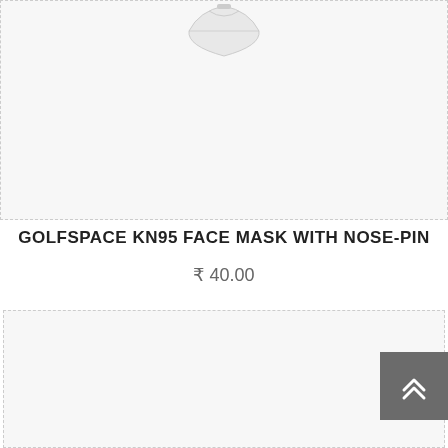[Figure (photo): Partial view of a KN95 face mask product image, white mask visible against light grey background, top portion of product card]
GOLFSPACE KN95 FACE MASK WITH NOSE-PIN
₹ 40.00
[Figure (photo): Second product card image area, light grey background, bottom portion of page with scroll-to-top button in bottom right corner]